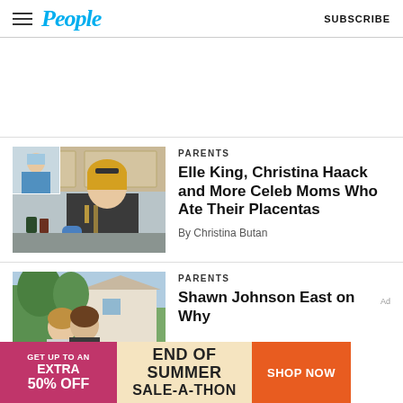People | SUBSCRIBE
[Figure (other): Advertisement placeholder space]
PARENTS
Elle King, Christina Haack and More Celeb Moms Who Ate Their Placentas
By Christina Butan
[Figure (photo): Woman cooking in kitchen with blue gloves, another woman in upper left corner inset]
PARENTS
Shawn Johnson East on Why Husband Did It...
[Figure (photo): Couple posing outdoors in front of house with trees]
[Figure (infographic): End of Summer Sale-A-Thon advertisement banner: GET UP TO AN EXTRA 50% OFF | END OF SUMMER SALE-A-THON | SHOP NOW]